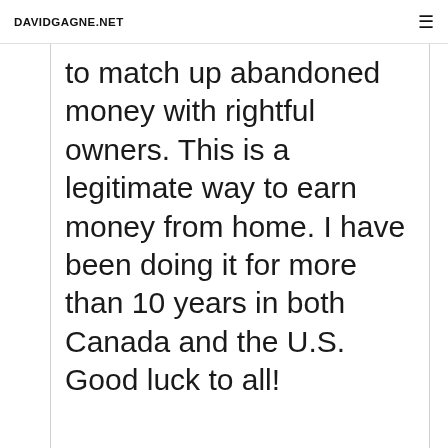DAVIDGAGNE.NET
to match up abandoned money with rightful owners. This is a legitimate way to earn money from home. I have been doing it for more than 10 years in both Canada and the U.S. Good luck to all!